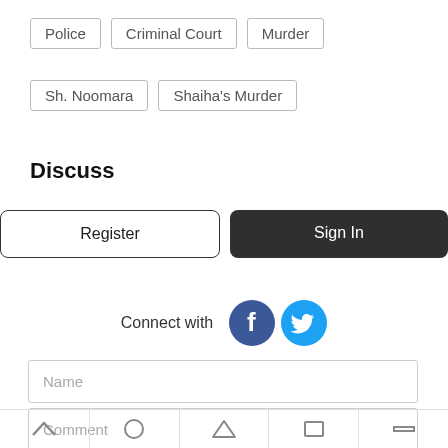Police
Criminal Court
Murder
Sh. Noomara
Shaiha's Murder
Discuss
Register
Sign In
Connect with
[Figure (illustration): Facebook and Twitter social media icons]
Name
Comment